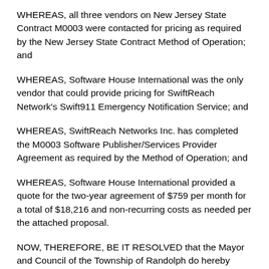WHEREAS, all three vendors on New Jersey State Contract M0003 were contacted for pricing as required by the New Jersey State Contract Method of Operation; and
WHEREAS, Software House International was the only vendor that could provide pricing for SwiftReach Network's Swift911 Emergency Notification Service; and
WHEREAS, SwiftReach Networks Inc. has completed the M0003 Software Publisher/Services Provider Agreement as required by the Method of Operation; and
WHEREAS, Software House International provided a quote for the two-year agreement of $759 per month for a total of $18,216 and non-recurring costs as needed per the attached proposal.
NOW, THEREFORE, BE IT RESOLVED that the Mayor and Council of the Township of Randolph do hereby approve entering into a new two-year agreement with Software